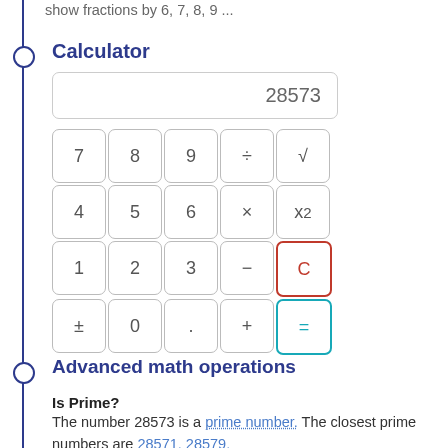show fractions by 6, 7, 8, 9 ...
Calculator
[Figure (other): Calculator widget showing display with 28573 and buttons: 7,8,9,÷,√; 4,5,6,×,x²; 1,2,3,−,C; ±,0,.,+,=]
Advanced math operations
Is Prime?
The number 28573 is a prime number. The closest prime numbers are 28571, 28579.
Factorization and factors (dividers)
The prime factors of 28573